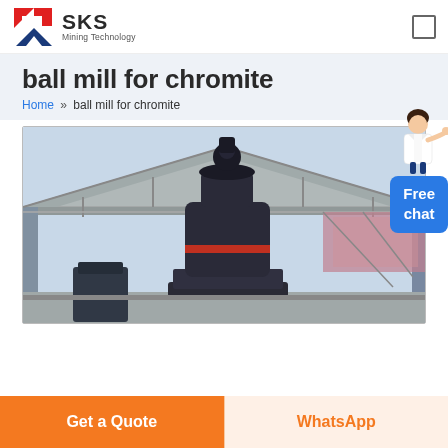[Figure (logo): SKS Mining Technology logo with red and blue arrow icon and company name]
ball mill for chromite
Home » ball mill for chromite
[Figure (photo): Large industrial ball mill / grinding machine inside a factory building with steel structure roof]
Free chat
Get a Quote
WhatsApp